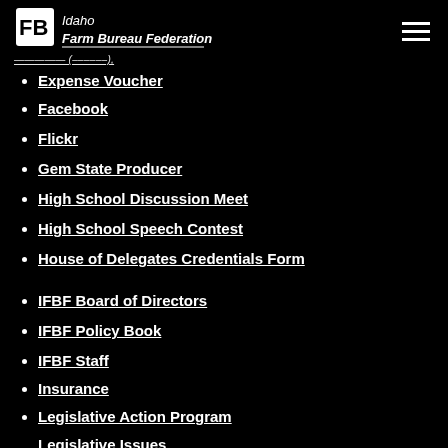Idaho Farm Bureau Federation
Expense Voucher
Facebook
Flickr
Gem State Producer
High School Discussion Meet
High School Speech Contest
House of Delegates Credentials Form
IFBF Board of Directors
IFBF Policy Book
IFBF Staff
Insurance
Legislative Action Program
Legislative Issues
Library
MAC Trailer